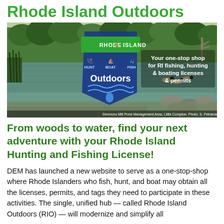Rhode Island Outdoors
[Figure (photo): Rhode Island Outdoors advertisement image showing a scenic pond with trees reflecting on the water, geese swimming, and the Rhode Island Outdoors logo with text 'Your one-stop shop for RI fishing, hunting & boating licenses & permits'. Caption at bottom: Simmons Mill Pond Management Area, Little Compton. Photo: S. Petrarca]
From woods to water, find your next adventure with your Rhode Island Hunting and Fishing License!
DEM has launched a new website to serve as a one-stop-shop where Rhode Islanders who fish, hunt, and boat may obtain all the licenses, permits, and tags they need to participate in these activities. The single, unified hub — called Rhode Island Outdoors (RIO) — will modernize and simplify all